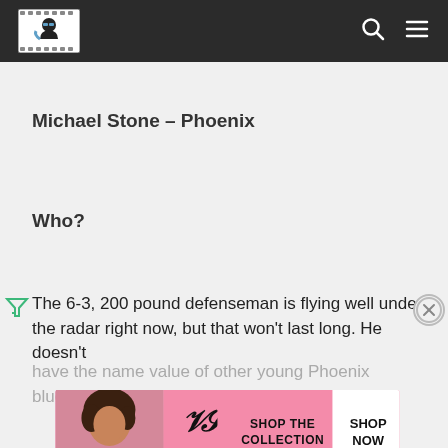Navigation bar with logo, search and menu icons
Michael Stone – Phoenix
Who?
The 6-3, 200 pound defenseman is flying well under the radar right now, but that won't last long. He doesn't have the name value of other young Phoenix blueliners (Dav... outpl... 2013. He even saw time on the top pairing as Oliver Ekman-
[Figure (screenshot): Victoria's Secret advertisement banner showing a model with curly hair, VS logo, 'SHOP THE COLLECTION' text and 'SHOP NOW' button]